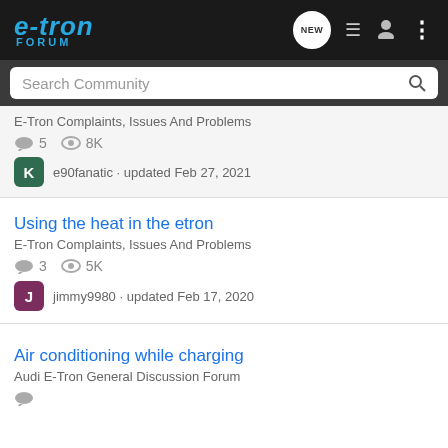e-tron FORUM
Search Community
Using the heat in the etron
E-Tron Complaints, Issues And Problems
3 replies · 5K views · jimmy9980 · updated Feb 17, 2020
Air conditioning while charging
Audi E-Tron General Discussion Forum